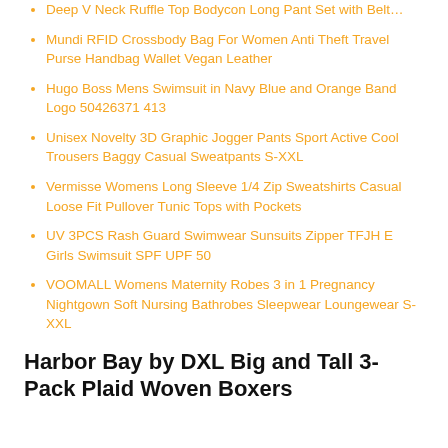Deep V Neck Ruffle Top Bodycon Long Pant Set with Belt…
Mundi RFID Crossbody Bag For Women Anti Theft Travel Purse Handbag Wallet Vegan Leather
Hugo Boss Mens Swimsuit in Navy Blue and Orange Band Logo 50426371 413
Unisex Novelty 3D Graphic Jogger Pants Sport Active Cool Trousers Baggy Casual Sweatpants S-XXL
Vermisse Womens Long Sleeve 1/4 Zip Sweatshirts Casual Loose Fit Pullover Tunic Tops with Pockets
UV 3PCS Rash Guard Swimwear Sunsuits Zipper TFJH E Girls Swimsuit SPF UPF 50
VOOMALL Womens Maternity Robes 3 in 1 Pregnancy Nightgown Soft Nursing Bathrobes Sleepwear Loungewear S-XXL
Harbor Bay by DXL Big and Tall 3-Pack Plaid Woven Boxers